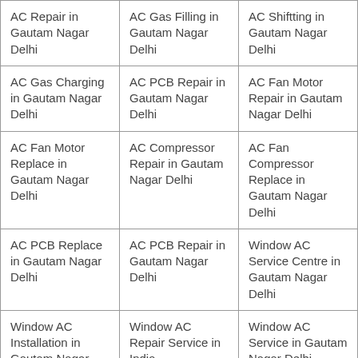| AC Repair in Gautam Nagar Delhi | AC Gas Filling in Gautam Nagar Delhi | AC Shiftting in Gautam Nagar Delhi |
| AC Gas Charging in Gautam Nagar Delhi | AC PCB Repair in Gautam Nagar Delhi | AC Fan Motor Repair in Gautam Nagar Delhi |
| AC Fan Motor Replace in Gautam Nagar Delhi | AC Compressor Repair in Gautam Nagar Delhi | AC Fan Compressor Replace in Gautam Nagar Delhi |
| AC PCB Replace in Gautam Nagar Delhi | AC PCB Repair in Gautam Nagar Delhi | Window AC Service Centre in Gautam Nagar Delhi |
| Window AC Installation in Gautam Nagar Delhi | Window AC Repair Service in India | Window AC Service in Gautam Nagar Delhi |
| Window AC Repair | Window AC Gas | Window AC |